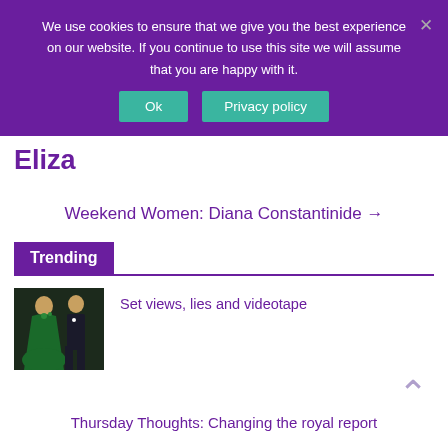We use cookies to ensure that we give you the best experience on our website. If you continue to use this site we will assume that you are happy with it.
Ok   Privacy policy
Eliza
Weekend Women: Diana Constantinide →
Trending
[Figure (photo): A couple in formal wear; person in green off-shoulder gown and person in dark suit]
Set views, lies and videotape
Thursday Thoughts: Changing the royal report